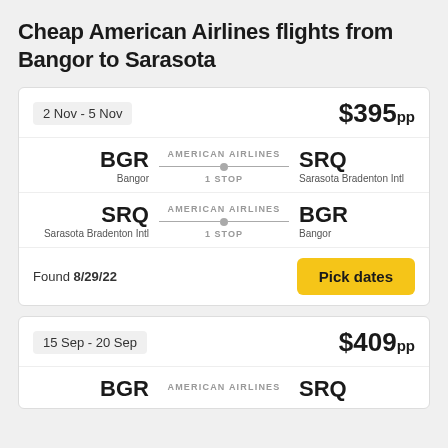Cheap American Airlines flights from Bangor to Sarasota
| Date | Price |
| --- | --- |
| 2 Nov - 5 Nov | $395pp |
BGR Bangor → AMERICAN AIRLINES 1 STOP → SRQ Sarasota Bradenton Intl
SRQ Sarasota Bradenton Intl → AMERICAN AIRLINES 1 STOP → BGR Bangor
Found 8/29/22
Pick dates
| Date | Price |
| --- | --- |
| 15 Sep - 20 Sep | $409pp |
BGR AMERICAN AIRLINES SRQ